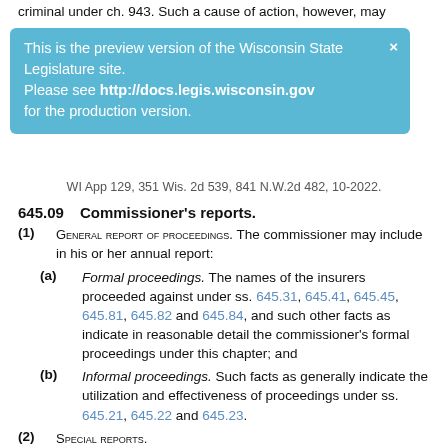criminal under ch. 943. Such a cause of action, however, may be brought as limited by...
[Figure (screenshot): Blue banner overlay reading: This is the preview version of the Wisconsin State Legislature site. Please see http://docs.legis.wisconsin.gov for the production version.]
WI App 129, 351 Wis. 2d 539, 841 N.W.2d 482, 10-2022.
645.09    Commissioner's reports.
(1) GENERAL REPORT OF PROCEEDINGS. The commissioner may include in his or her annual report:
(a) Formal proceedings. The names of the insurers proceeded against under ss. 645.31, 645.41, 645.45, 645.81, 645.82 and 645.84, and such other facts as indicate in reasonable detail the commissioner's formal proceedings under this chapter; and
(b) Informal proceedings. Such facts as generally indicate the utilization and effectiveness of proceedings under ss. 645.21, 645.22 and 645.23.
(2) SPECIAL REPORTS.
(a) Causes of delinquency. The commissioner may include in his or her annual report, not later than the 2nd annual report following the initiation of any formal proceedings under this chapter, a detailed analysis of the basic causes and contributing factors making the initiation of formal...